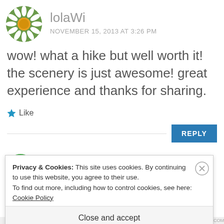[Figure (photo): Circular avatar image of a white daisy flower with yellow center on green background]
lolaWi
NOVEMBER 15, 2013 AT 3:26 PM
wow! what a hike but well worth it! the scenery is just awesome! great experience and thanks for sharing.
★ Like
REPLY
Privacy & Cookies: This site uses cookies. By continuing to use this website, you agree to their use.
To find out more, including how to control cookies, see here: Cookie Policy
Close and accept